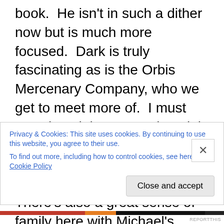book.  He isn't in such a dither now but is much more focused.  Dark is truly fascinating as is the Orbis Mercenary Company, who we get to meet more of.  I must say I loved the apprentice trial that Michael was put through and more than that the outcome – what a surprise.  There's also a great sense of family here with Michael's mother being recovered and the family returning to the Kingman Keep.  The Royals and the Kingman family share such a complicated past and that is explored much more in this instalment.  It seems that Serena and Michael may have strong feelings for each other.  Naomi and Trev
Privacy & Cookies: This site uses cookies. By continuing to use this website, you agree to their use.
To find out more, including how to control cookies, see here: Cookie Policy
Close and accept